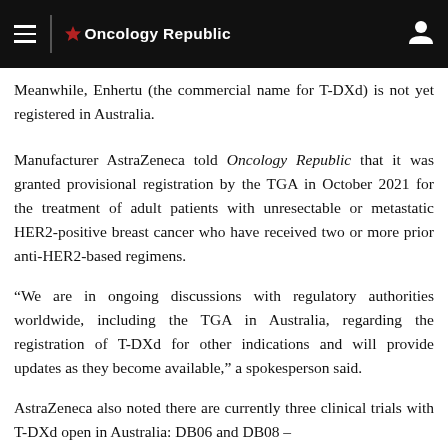Oncology Republic
Meanwhile, Enhertu (the commercial name for T-DXd) is not yet registered in Australia.
Manufacturer AstraZeneca told Oncology Republic that it was granted provisional registration by the TGA in October 2021 for the treatment of adult patients with unresectable or metastatic HER2-positive breast cancer who have received two or more prior anti-HER2-based regimens.
“We are in ongoing discussions with regulatory authorities worldwide, including the TGA in Australia, regarding the registration of T-DXd for other indications and will provide updates as they become available,” a spokesperson said.
AstraZeneca also noted there are currently three clinical trials with T-DXd open in Australia: DB06 and DB08 –